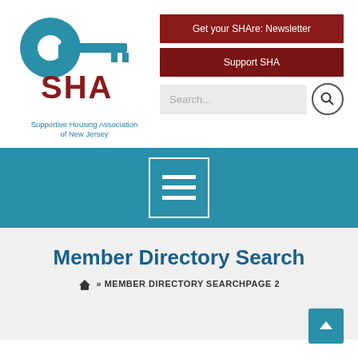[Figure (logo): SHA Supportive Housing Association of New Jersey logo with teal key/house icon and brown SHA text]
Supportive Housing Association of New Jersey
Get your SHAre: Newsletter
Support SHA
Search...
[Figure (other): Teal navigation bar with hamburger/menu icon in a white-bordered box]
Member Directory Search
» MEMBER DIRECTORY SEARCHPAGE 2